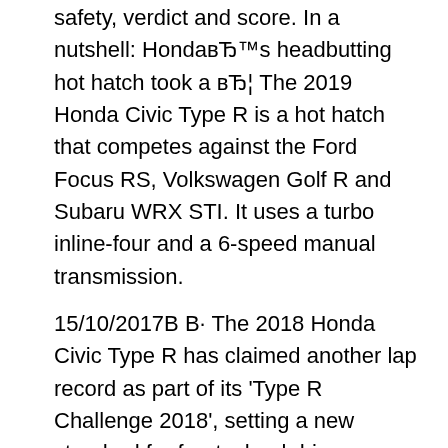safety, verdict and score. In a nutshell: Honda's headbutting hot hatch took a … The 2019 Honda Civic Type R is a hot hatch that competes against the Ford Focus RS, Volkswagen Golf R and Subaru WRX STI. It uses a turbo inline-four and a 6-speed manual transmission.
15/10/2017В В· The 2018 Honda Civic Type R has claimed another lap record as part of its 'Type R Challenge 2018', setting a new standard for front-wheel drive vehicles around Spa Francorchamps. 10/08/2019В В· The Honda Civic has always been a popular model, mainly because it's practical yet stylish and it could take competition against other nameplates easily. So when the Civic Type R was officially
Research the 2018 Honda Civic at cars.com and find specs, pricing, MPG, safety data, photos, videos, reviews and local inventory. Research the 2018 Honda Civic at cars.com and